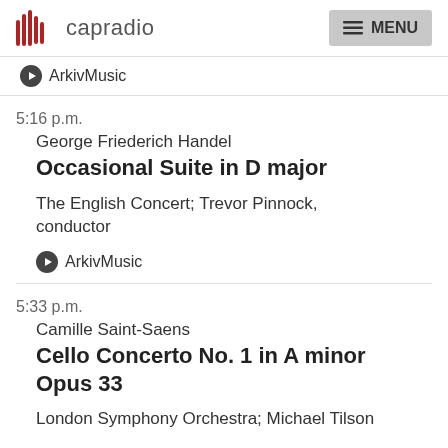capradio | MENU
ArkivMusic
5:16 p.m.
George Friederich Handel
Occasional Suite in D major
The English Concert; Trevor Pinnock, conductor
ArkivMusic
5:33 p.m.
Camille Saint-Saens
Cello Concerto No. 1 in A minor Opus 33
London Symphony Orchestra; Michael Tilson